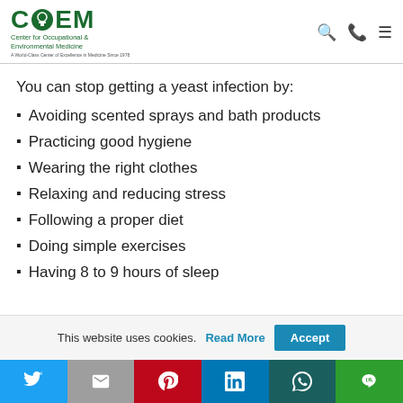COEM — Center for Occupational & Environmental Medicine
You can stop getting a yeast infection by:
Avoiding scented sprays and bath products
Practicing good hygiene
Wearing the right clothes
Relaxing and reducing stress
Following a proper diet
Doing simple exercises
Having 8 to 9 hours of sleep
This website uses cookies. Read More  Accept